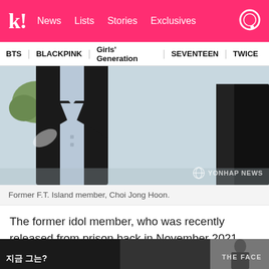k! News Lists Stories Exclusives
BTS  BLACKPINK  Girls' Generation  SEVENTEEN  TWICE
[Figure (photo): Cropped photo of a man in a black blazer over a light blue shirt, watermarked 'YONHAP NEWS']
Former F.T. Island member, Choi Jong Hoon.
The former idol member, who was recently released from prison back in November 2021, attended a church service with his mother on January 9.
[Figure (screenshot): Bottom strip image with Korean text and 'THE FACE' branding]